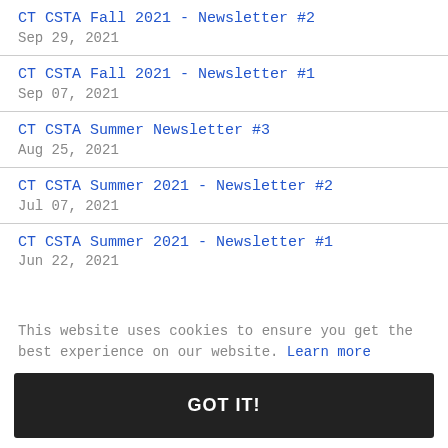CT CSTA Fall 2021 - Newsletter #2
Sep 29, 2021
CT CSTA Fall 2021 - Newsletter #1
Sep 07, 2021
CT CSTA Summer Newsletter #3
Aug 25, 2021
CT CSTA Summer 2021 - Newsletter #2
Jul 07, 2021
CT CSTA Summer 2021 - Newsletter #1
Jun 22, 2021
This website uses cookies to ensure you get the best experience on our website. Learn more
GOT IT!